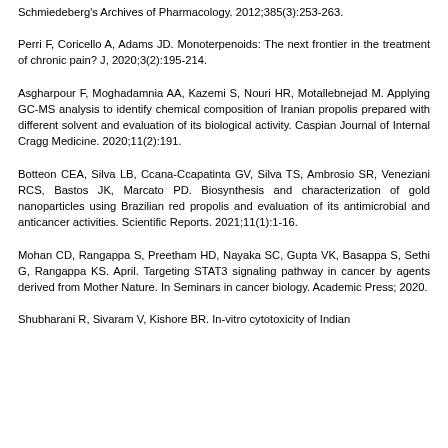Schmiedeberg's Archives of Pharmacology. 2012;385(3):253-263.
Perri F, Coricello A, Adams JD. Monoterpenoids: The next frontier in the treatment of chronic pain? J, 2020;3(2):195-214.
Asgharpour F, Moghadamnia AA, Kazemi S, Nouri HR, Motallebnejad M. Applying GC-MS analysis to identify chemical composition of Iranian propolis prepared with different solvent and evaluation of its biological activity. Caspian Journal of Internal Cragg Medicine. 2020;11(2):191.
Botteon CEA, Silva LB, Ccana-Ccapatinta GV, Silva TS, Ambrosio SR, Veneziani RCS, Bastos JK, Marcato PD. Biosynthesis and characterization of gold nanoparticles using Brazilian red propolis and evaluation of its antimicrobial and anticancer activities. Scientific Reports. 2021;11(1):1-16.
Mohan CD, Rangappa S, Preetham HD, Nayaka SC, Gupta VK, Basappa S, Sethi G, Rangappa KS. April. Targeting STAT3 signaling pathway in cancer by agents derived from Mother Nature. In Seminars in cancer biology. Academic Press; 2020.
Shubharani R, Sivaram V, Kishore BR. In-vitro cytotoxicity of Indian